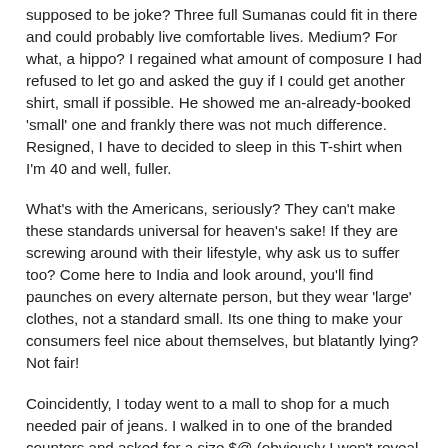supposed to be joke? Three full Sumanas could fit in there and could probably live comfortable lives. Medium? For what, a hippo? I regained what amount of composure I had refused to let go and asked the guy if I could get another shirt, small if possible. He showed me an-already-booked 'small' one and frankly there was not much difference. Resigned, I have to decided to sleep in this T-shirt when I'm 40 and well, fuller.
What's with the Americans, seriously? They can't make these standards universal for heaven's sake! If they are screwing around with their lifestyle, why ask us to suffer too? Come here to India and look around, you'll find paunches on every alternate person, but they wear 'large' clothes, not a standard small. Its one thing to make your consumers feel nice about themselves, but blatantly lying? Not fair!
Coincidently, I today went to a mall to shop for a much needed pair of jeans. I walked in to one of the branded counters and asked for a size $@ (obviously I won't reveal that!) and the guy had the nerve to tell me that his company does not make jeans that size. I checked again to see if the